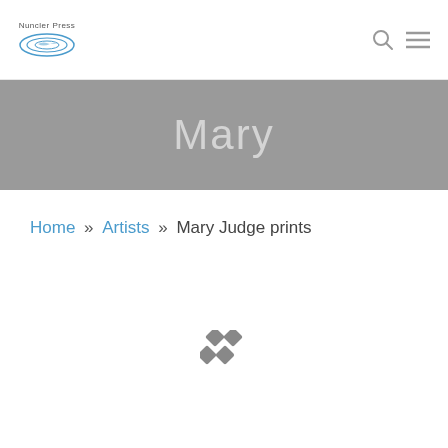Nuncler Press navigation bar with logo, search icon, and menu icon
Mary
Home » Artists » Mary Judge prints
[Figure (other): Loading spinner icon made of four diamond/rhombus shapes in gray]